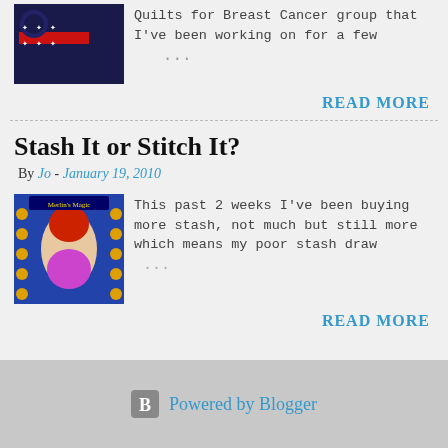[Figure (photo): Partial top of previous blog post: image of crocheted/knitted item (dark blue with red stripe and white stars) and text snippet about Quilts for Breast Cancer group]
Quilts for Breast Cancer group that I've been working on for a few ...
READ MORE
Stash It or Stitch It?
By Jo - January 19, 2010
[Figure (photo): Book or kit cover image with fairy/fantasy art showing a girl with red hair and fairy/magical theme, title appears to be 'Merlin's Magic' or similar]
This past 2 weeks I've been buying more stash, not much but still more which means my poor stash draw ...
READ MORE
Powered by Blogger